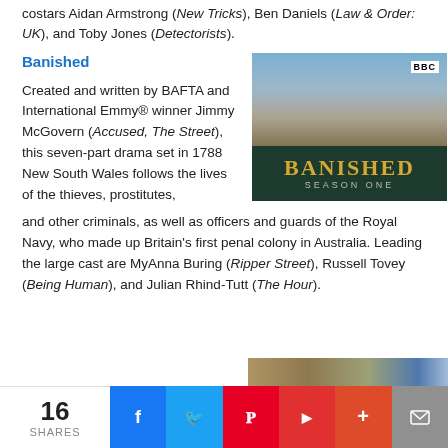costars Aidan Armstrong (New Tricks), Ben Daniels (Law & Order: UK), and Toby Jones (Detectorists).
Banished
[Figure (photo): BBC Banished Season One promotional image showing three actors on a beach with cliffs in background, dark green banner with gold title text 'BANISHED SEASON ONE' and BBC logo]
Created and written by BAFTA and International Emmy® winner Jimmy McGovern (Accused, The Street), this seven-part drama set in 1788 New South Wales follows the lives of the thieves, prostitutes, and other criminals, as well as officers and guards of the Royal Navy, who made up Britain's first penal colony in Australia. Leading the large cast are MyAnna Buring (Ripper Street), Russell Tovey (Being Human), and Julian Rhind-Tutt (The Hour).
16 SHARES | Facebook | Twitter | Pinterest | Flipboard | Plus | Email